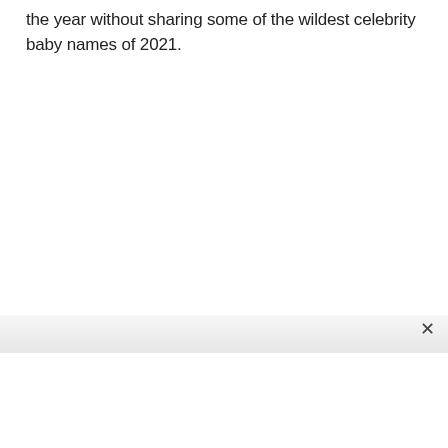the year without sharing some of the wildest celebrity baby names of 2021.